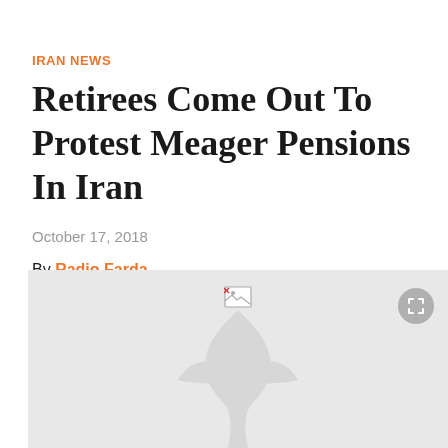IRAN NEWS
Retirees Come Out To Protest Meager Pensions In Iran
October 17, 2018
By Radio Farda
[Figure (photo): A light gray placeholder image with a broken image icon at the top center, a fullscreen button (circular gray) in the top right, and a large faint Radio Farda torch/flame logo watermark centered in the image area.]